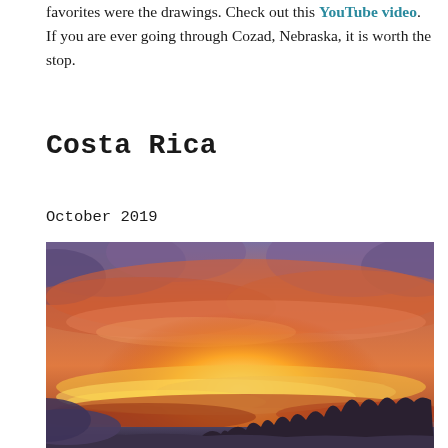favorites were the drawings. Check out this YouTube video. If you are ever going through Cozad, Nebraska, it is worth the stop.
Costa Rica
October 2019
[Figure (illustration): Oil painting of a dramatic sunset sky with orange, red, and yellow clouds over a dark silhouetted treeline, painted in an expressive style.]